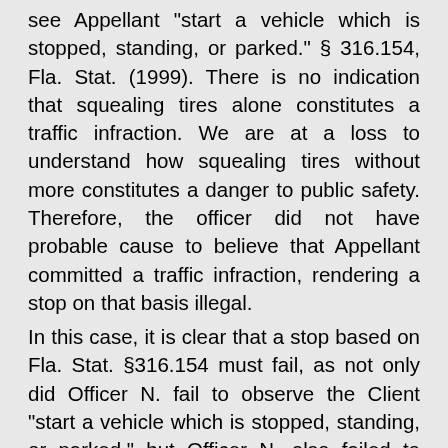see Appellant "start a vehicle which is stopped, standing, or parked." § 316.154, Fla. Stat. (1999). There is no indication that squealing tires alone constitutes a traffic infraction. We are at a loss to understand how squealing tires without more constitutes a danger to public safety. Therefore, the officer did not have probable cause to believe that Appellant committed a traffic infraction, rendering a stop on that basis illegal. In this case, it is clear that a stop based on Fla. Stat. §316.154 must fail, as not only did Officer N. fail to observe the Client “start a vehicle which is stopped, standing, or parked,” but Officer N. also failed to observe the Client’s vehicle drive in a manner which put the person or property of another in danger (in no small part due to the fact that the